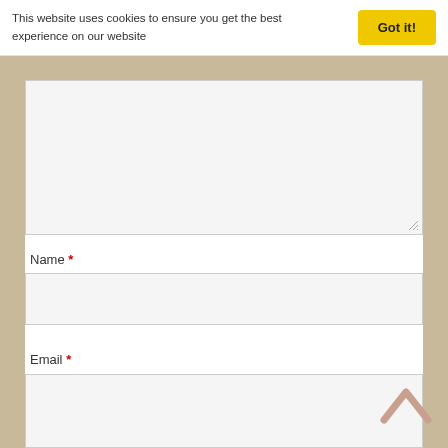This website uses cookies to ensure you get the best experience on our website
Got it!
[Figure (screenshot): Large textarea input field with light gray background and resize handle in bottom-right corner]
Name *
[Figure (screenshot): Name text input field with light gray background]
Email *
[Figure (screenshot): Email text input field with light gray background, partially visible]
[Figure (other): Scroll-to-top arrow chevron icon in muted pink/beige color]